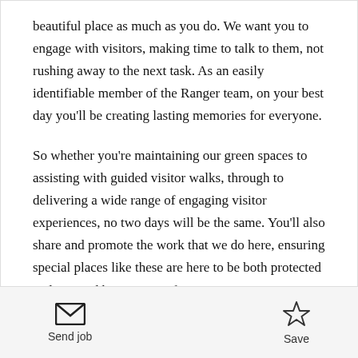beautiful place as much as you do. We want you to engage with visitors, making time to talk to them, not rushing away to the next task. As an easily identifiable member of the Ranger team, on your best day you'll be creating lasting memories for everyone.
So whether you're maintaining our green spaces to assisting with guided visitor walks, through to delivering a wide range of engaging visitor experiences, no two days will be the same. You'll also share and promote the work that we do here, ensuring special places like these are here to be both protected and enjoyed by everyone for ever.
Send job  Save